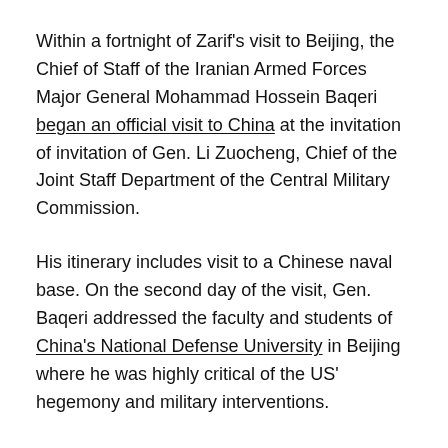Within a fortnight of Zarif's visit to Beijing, the Chief of Staff of the Iranian Armed Forces Major General Mohammad Hossein Baqeri began an official visit to China at the invitation of invitation of Gen. Li Zuocheng, Chief of the Joint Staff Department of the Central Military Commission.
His itinerary includes visit to a Chinese naval base. On the second day of the visit, Gen. Baqeri addressed the faculty and students of China's National Defense University in Beijing where he was highly critical of the US' hegemony and military interventions.
Meanwhile, a highlight of the third China-Afghanistan-Pakistan Trilateral Foreign Ministers' Dialogue held in Islamabad on September 7 has been the agreement to explore ways to advance trilateral cooperation under the